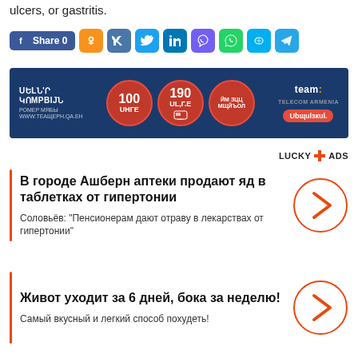ulcers, or gastritis.
[Figure (infographic): Social media share buttons: Facebook Share 0, Odnoklassniki, VKontakte, Twitter, LinkedIn, Viber, WhatsApp, Skype, Telegram]
[Figure (infographic): Advertisement banner for Team Telecom Armenia with Armenian text, red circular icons showing 100, 190, and other offers]
LUCKY ADS
В городе Ашберн аптеки продают яд в таблетках от гипертонии
Соловьёв: "Пенсионерам дают отраву в лекарствах от гипертонии"
Живот уходит за 6 дней, бока за неделю!
Самый вкусный и легкий способ похудеть!